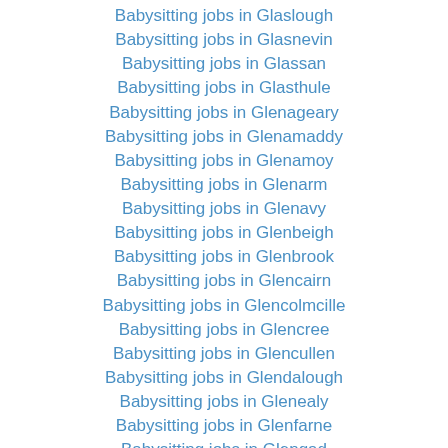Babysitting jobs in Glaslough
Babysitting jobs in Glasnevin
Babysitting jobs in Glassan
Babysitting jobs in Glasthule
Babysitting jobs in Glenageary
Babysitting jobs in Glenamaddy
Babysitting jobs in Glenamoy
Babysitting jobs in Glenarm
Babysitting jobs in Glenavy
Babysitting jobs in Glenbeigh
Babysitting jobs in Glenbrook
Babysitting jobs in Glencairn
Babysitting jobs in Glencolmcille
Babysitting jobs in Glencree
Babysitting jobs in Glencullen
Babysitting jobs in Glendalough
Babysitting jobs in Glenealy
Babysitting jobs in Glenfarne
Babysitting jobs in Glengad
Babysitting jobs in Glengarriff
Babysitting jobs in Glenmore
Babysitting jobs in Glenmornan
Babysitting jobs in Glenroe